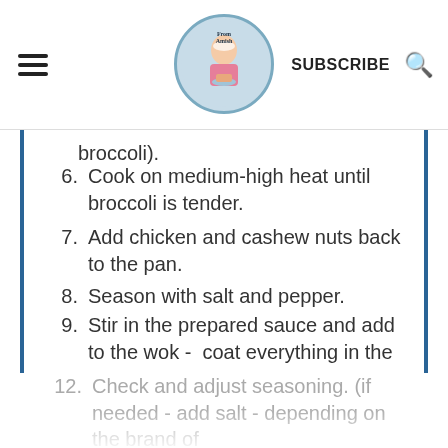From Amish — SUBSCRIBE [search icon]
broccoli).
6. Cook on medium-high heat until broccoli is tender.
7. Add chicken and cashew nuts back to the pan.
8. Season with salt and pepper.
9. Stir in the prepared sauce and add to the wok -  coat everything in the sauce.
10. Add the Zucchini noodles and saute for 3 to 5 minutes - while keeping it al-dente.
11. Lastly, add in the cilantro or parsley.
12. Check and adjust seasoning. (if needed - add salt - depending on the brand of